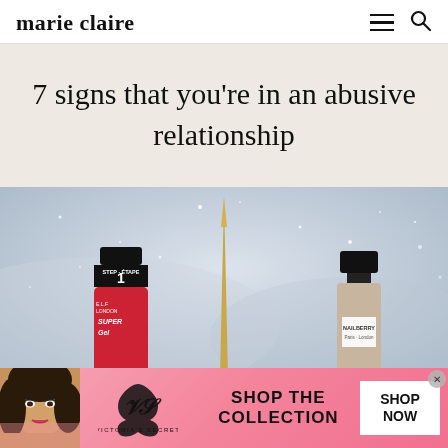marie claire
7 signs that you're in an abusive relationship
[Figure (photo): Beauty product flat lay on glittery winter background showing nail polish bottles (including one labeled STEP-ÉTAPE 1 / SUPER with a red bottle) and a gold pointed eyeliner or nail tool, and a Nailberry Paris-London nude nail polish bottle on the right]
[Figure (photo): Victoria's Secret advertisement banner with pink gradient background, showing a model with curly hair on the left, the Victoria's Secret cursive logo and name in center, and SHOP THE COLLECTION text with a white SHOP NOW button on the right]